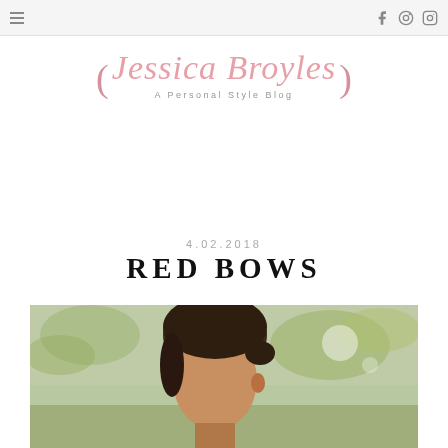Navigation bar with menu icon and social icons (Facebook, Pinterest, Instagram)
[Figure (logo): Jessica Broyles - A Personal Style Blog logo in pink cursive script with decorative brackets]
4.02.2018
RED BOWS
[Figure (photo): Outdoor photo of a woman with dark hair pulled back, photographed from neck up against a blurred green outdoor background]